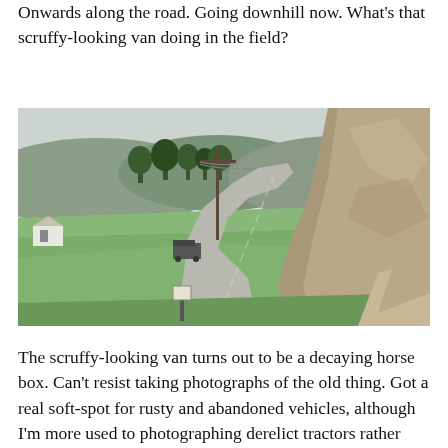Onwards along the road. Going downhill now. What's that scruffy-looking van doing in the field?
[Figure (photo): A winding single-track road descending through a green Scottish Highland valley. There are rolling hills in the background with some trees, a utility pole, a rocky hillside on the right, and what appears to be a van or horse box in a field in the middle distance.]
The scruffy-looking van turns out to be a decaying horse box. Can't resist taking photographs of the old thing. Got a real soft-spot for rusty and abandoned vehicles, although I'm more used to photographing derelict tractors rather